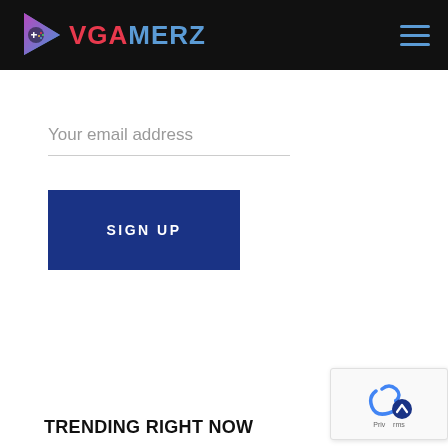VGAMERZ
Your email address
SIGN UP
TRENDING RIGHT NOW
[Figure (logo): reCAPTCHA badge with scroll-to-top button]